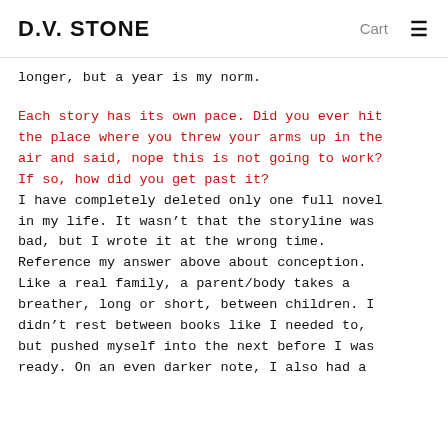D.V. STONE   Cart  ≡
longer, but a year is my norm.
Each story has its own pace. Did you ever hit the place where you threw your arms up in the air and said, nope this is not going to work? If so, how did you get past it?
I have completely deleted only one full novel in my life. It wasn't that the storyline was bad, but I wrote it at the wrong time. Reference my answer above about conception. Like a real family, a parent/body takes a breather, long or short, between children. I didn't rest between books like I needed to, but pushed myself into the next before I was ready. On an even darker note, I also had a